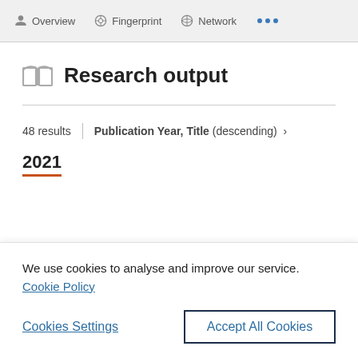Overview  Fingerprint  Network  ...
Research output
48 results  |  Publication Year, Title (descending) >
2021
We use cookies to analyse and improve our service. Cookie Policy
Cookies Settings    Accept All Cookies